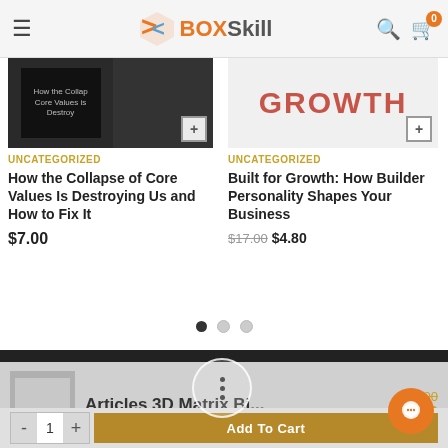BoxSkill — navigation header with hamburger menu, logo, search and cart icons
[Figure (screenshot): Product card image for 'How the Collapse of Core Values Is Destroying Us and How to Fix It' — dark book cover]
UNCATEGORIZED
How the Collapse of Core Values Is Destroying Us and How to Fix It
$7.00
[Figure (screenshot): Product card image for 'Built for Growth' — red GROWTH text on light background]
UNCATEGORIZED
Built for Growth: How Builder Personality Shapes Your Business
$17.00 $4.80
Articles 3D Matrix Bi...
$90.00 $33.00